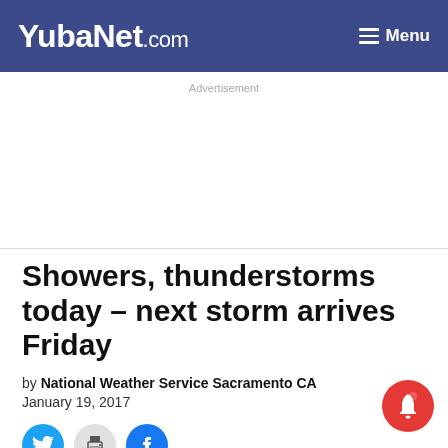YubaNet.com — Menu
Advertisement
Showers, thunderstorms today – next storm arrives Friday
by National Weather Service Sacramento CA
January 19, 2017